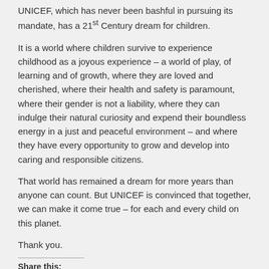UNICEF, which has never been bashful in pursuing its mandate, has a 21st Century dream for children.
It is a world where children survive to experience childhood as a joyous experience – a world of play, of learning and of growth, where they are loved and cherished, where their health and safety is paramount, where their gender is not a liability, where they can indulge their natural curiosity and expend their boundless energy in a just and peaceful environment – and where they have every opportunity to grow and develop into caring and responsible citizens.
That world has remained a dream for more years than anyone can count. But UNICEF is convinced that together, we can make it come true – for each and every child on this planet.
Thank you.
Share this: